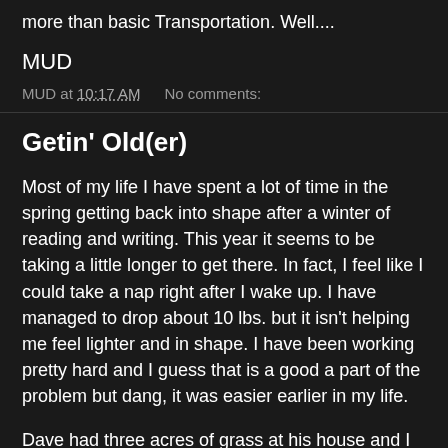more than basic Transportation. Well....
MUD
MUD at 10:17 AM    No comments:
Getin' Old(er)
Most of my life I have spent a lot of time in the spring getting back into shape after a winter of reading and writing.  This year it seems to be taking a little longer to get there.  In fact, I feel like I could take a nap right after I wake up.  I have managed to drop about 10 lbs. but it isn't helping me feel lighter and in shape.  I have been working pretty hard and I guess that is a good a part of the problem but dang, it was easier earlier in my life.
Dave had three acres of grass at his house and I